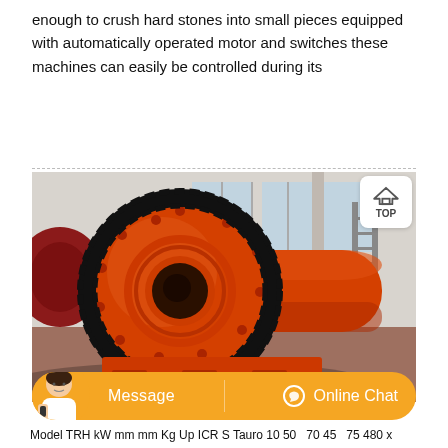enough to crush hard stones into small pieces equipped with automatically operated motor and switches these machines can easily be controlled during its
[Figure (photo): Large industrial red ball mill machine in a factory/warehouse setting. The cylindrical grinding mill is painted bright red/orange with a large black gear ring around it. The machine is positioned on a red base frame in a large industrial space with concrete floors and windows in the background.]
Message    Online Chat
Model TRH kW mm mm Kg Up ICR S Tauro 10 50   70 45   75 480 x